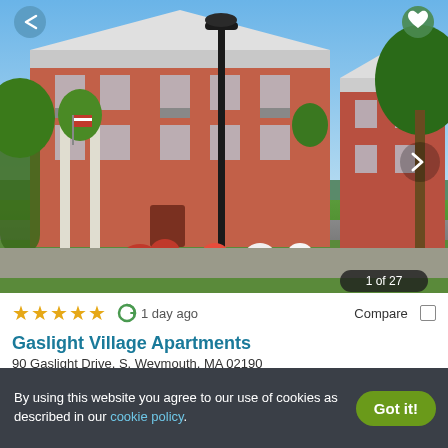[Figure (photo): Exterior photo of Gaslight Village Apartments showing brick multi-story residential building with balconies, green trees, lamp post, and red/white flower garden in foreground. Badge showing '1 of 27' in bottom right corner.]
★★★★★ (4.5 stars) · 1 day ago · Compare
Gaslight Village Apartments
90 Gaslight Drive, S. Weymouth, MA 02190
Contact for availability · Verified
Studio   1 BED   2+ BEDS
By using this website you agree to our use of cookies as described in our cookie policy.